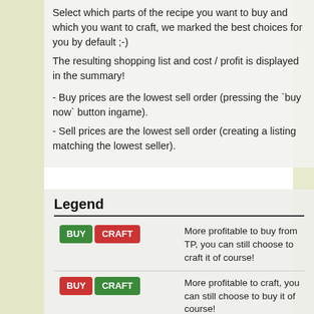Select which parts of the recipe you want to buy and which you want to craft, we marked the best choices for you by default ;-)
The resulting shopping list and cost / profit is displayed in the summary!

- Buy prices are the lowest sell order (pressing the `buy now` button ingame).
- Sell prices are the lowest sell order (creating a listing matching the lowest seller).
Legend
| Icon | Description |
| --- | --- |
| BUY  CRAFT | More profitable to buy from TP, you can still choose to craft it of course! |
| BUY  CRAFT | More profitable to craft, you can still choose to buy it of course! |
| NOT SOLD  CRAFT | We don't have a sell price for this item so your only |